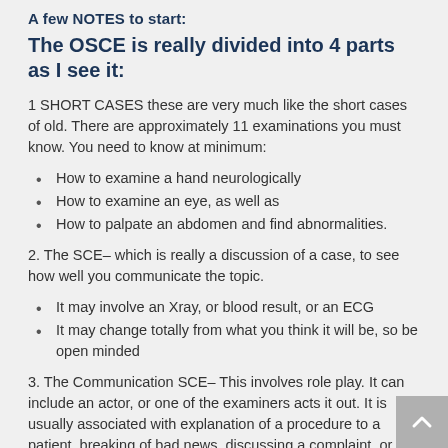A few NOTES to start:
The OSCE is really divided into 4 parts as I see it:
1 SHORT CASES these are very much like the short cases of old. There are approximately 11 examinations you must know. You need to know at minimum:
How to examine a hand neurologically
How to examine an eye, as well as
How to palpate an abdomen and find abnormalities.
2. The SCE– which is really a discussion of a case, to see how well you communicate the topic.
It may involve an Xray, or blood result, or an ECG
It may change totally from what you think it will be, so be open minded
3. The Communication SCE– This involves role play. It can include an actor, or one of the examiners acts it out. It is usually associated with explanation of a procedure to a patient, breaking of bad news, discussing a complaint, or taking a history. The old Long case has now been broken